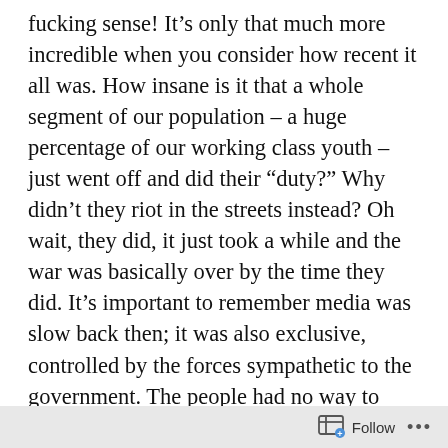fucking sense! It’s only that much more incredible when you consider how recent it all was. How insane is it that a whole segment of our population – a huge percentage of our working class youth – just went off and did their “duty?” Why didn’t they riot in the streets instead? Oh wait, they did, it just took a while and the war was basically over by the time they did. It’s important to remember media was slow back then; it was also exclusive, controlled by the forces sympathetic to the government. The people had no way to question authority, to demand an explanation for what was being asked of them. “God and country,” our leaders said, “it’s up to you
Follow